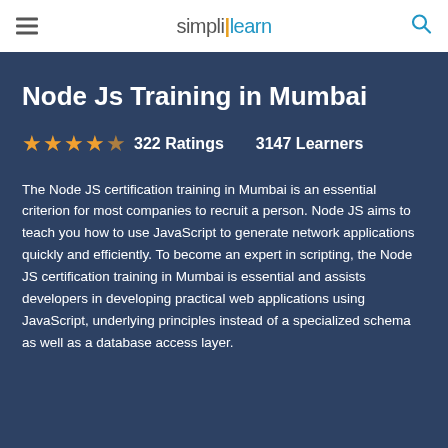simplilearn
Node Js Training in Mumbai
★★★★★ 322 Ratings   3147 Learners
The Node JS certification training in Mumbai is an essential criterion for most companies to recruit a person. Node JS aims to teach you how to use JavaScript to generate network applications quickly and efficiently. To become an expert in scripting, the Node JS certification training in Mumbai is essential and assists developers in developing practical web applications using JavaScript, underlying principles instead of a specialized schema as well as a database access layer.